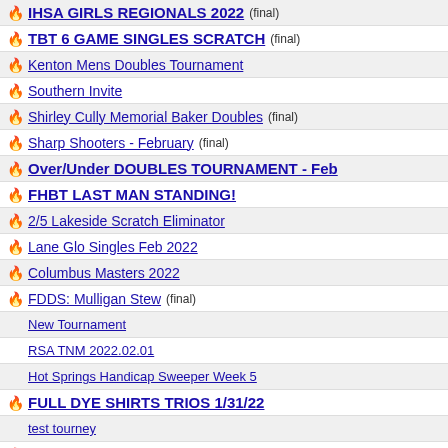IHSA GIRLS REGIONALS 2022 (final)
TBT 6 GAME SINGLES SCRATCH (final)
Kenton Mens Doubles Tournament
Southern Invite
Shirley Cully Memorial Baker Doubles (final)
Sharp Shooters - February (final)
Over/Under DOUBLES TOURNAMENT - Feb
FHBT LAST MAN STANDING!
2/5 Lakeside Scratch Eliminator
Lane Glo Singles Feb 2022
Columbus Masters 2022
FDDS: Mulligan Stew (final)
New Tournament
RSA TNM 2022.02.01
Hot Springs Handicap Sweeper Week 5
FULL DYE SHIRTS TRIOS 1/31/22
test tourney
Youth Singles (final)
Coshocton Open City and Womens Tournament (final)
CCT January Baker Team Tournament
Soba Ten Down 2022 (final)
Sioux Falls USBC 2021-22 Open Tournament (final)